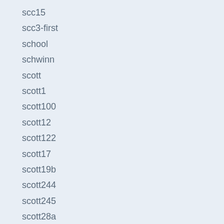scc15
scc3-first
school
schwinn
scott
scott1
scott100
scott12
scott122
scott17
scott19b
scott244
scott245
scott28a
scott293